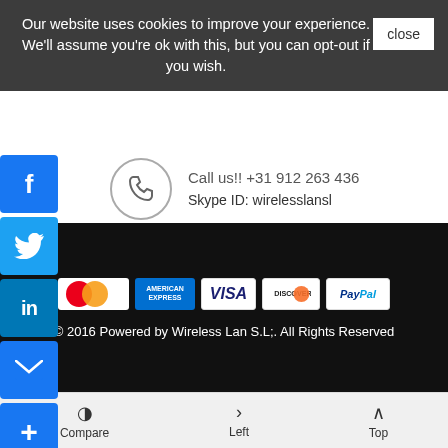Our website uses cookies to improve your experience. We'll assume you're ok with this, but you can opt-out if you wish.
Call us!! +31 912 263 436
Skype ID: wirelesslansl
C/ Niza Nº 2 Posterior, Local 7-8.
28936 Mostoles, Madrid, España
OGLE MAP
NTACT US
[Figure (logo): Payment method logos: MasterCard, American Express, VISA, Discover, PayPal]
© 2016 Powered by Wireless Lan S.L;. All Rights Reserved
Compare  Left  Top